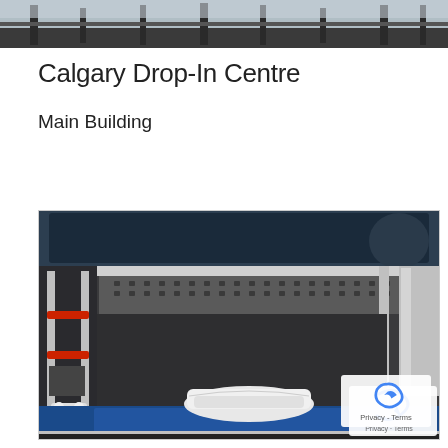[Figure (photo): Top strip photo of an outdoor winter scene with a railing or structure visible]
Calgary Drop-In Centre
Main Building
[Figure (photo): Photo of a metal bunk bed frame with blue mattresses, white folded linens on the lower bunk, and perforated metal shelf between bunks. A ladder with red bars is visible on the left side. A reCAPTCHA badge appears in the bottom right corner with 'Privacy - Terms' text.]